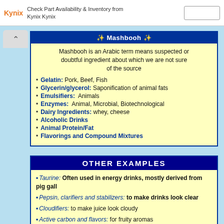Check Part Availability & Inventory from Kynix Kynix
Mashbooh
Mashbooh is an Arabic term means suspected or doubtful ingredient about which we are not sure of the source
Gelatin: Pork, Beef, Fish
Glycerin/glycerol: Saponification of animal fats
Emulsifiers: Animals
Enzymes: Animal, Microbial, Biotechnological
Dairy Ingredients: whey, cheese
Alcoholic Drinks
Animal Protein/Fat
Flavorings and Compound Mixtures
OTHER EXAMPLES
Taurine: Often used in energy drinks, mostly derived from pig gall
Pepsin, clarifiers and stabilizers: to make drinks look clear
Cloudifiers: to make juice look cloudy
Active carbon and flavors: for fruity aromas